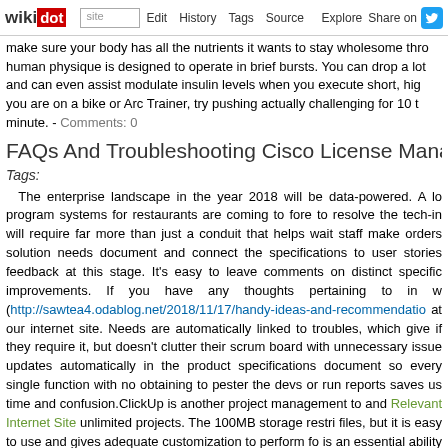wikidot | site | Edit | History | Tags | Source | Explore | Share on [Twitter]
make sure your body has all the nutrients it wants to stay wholesome thro... human physique is designed to operate in brief bursts. You can drop a lot and can even assist modulate insulin levels when you execute short, high you are on a bike or Arc Trainer, try pushing actually challenging for 10 t minute. - Comments: 0
FAQs And Troubleshooting Cisco License Manag...
Tags:
The enterprise landscape in the year 2018 will be data-powered. A lo... program systems for restaurants are coming to fore to resolve the tech-in... will require far more than just a conduit that helps wait staff make orders... solution needs document and connect the specifications to user stories feedback at this stage. It's easy to leave comments on distinct specific improvements. If you have any thoughts pertaining to in w (http://sawtea4.odablog.net/2018/11/17/handy-ideas-and-recommendation... at our internet site. Needs are automatically linked to troubles, which give if they require it, but doesn't clutter their scrum board with unnecessary issue updates automatically in the product specifications document so every single function with no obtaining to pester the devs or run reports saves us time and confusion.ClickUp is another project management to and Relevant Internet Site unlimited projects. The 100MB storage restri... files, but it is easy to use and gives adequate customization to perform fo... is an essential ability for project managers. If you can't handle your own teams? Ask every single day what you did to move the project forward. guarantee your project continues along the straight and narrow path. Pro a light touch and communicate efficiently. With a little time managemen...